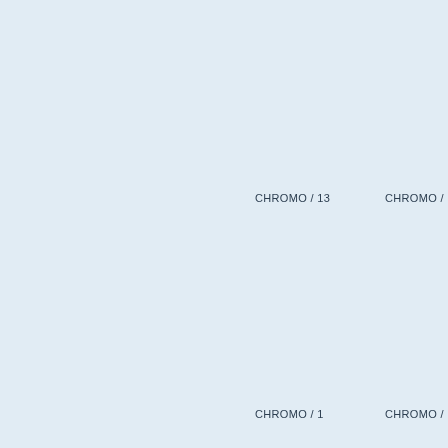[Figure (map): Light blue background map/diagram showing chromosome region labels. Visible labels include 'CHROMO / 13' in the center-right area, 'CHROMO /' partially visible at the far right, and partial labels 'CHROMO /' and 'CHROMO / 1' at the bottom.]
CHROMO / 13
CHROMO /
CHROMO /
CHROMO / 1